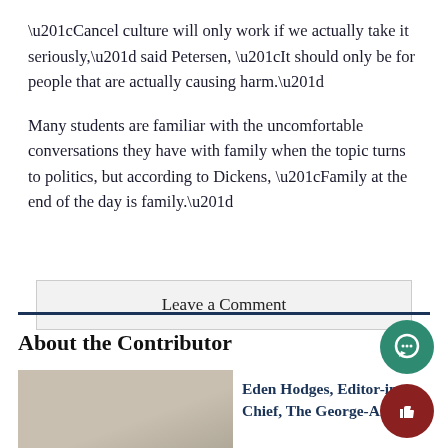“Cancel culture will only work if we actually take it seriously,” said Petersen, “It should only be for people that are actually causing harm.”
Many students are familiar with the uncomfortable conversations they have with family when the topic turns to politics, but according to Dickens, “Family at the end of the day is family.”
Leave a Comment
About the Contributor
[Figure (photo): Photo of contributor Eden Hodges]
Eden Hodges, Editor-in-Chief, The George-Anne